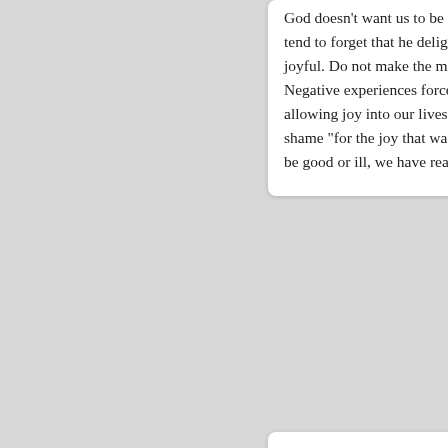God doesn't want us to be gl... tend to forget that he delights... joyful. Do not make the mista... Negative experiences force u... allowing joy into our lives. As ... shame "for the joy that was s... be good or ill, we have reaso...
Bad Boy Mak...
28/August/2010
Forgive the title for this post,... the consequences which flow... clever, but he was also ambit... its problematic side. History, h... son, forgiven but not forgotter... thought of as the decay of the... than change) on the develop...
From Augustine come the co...